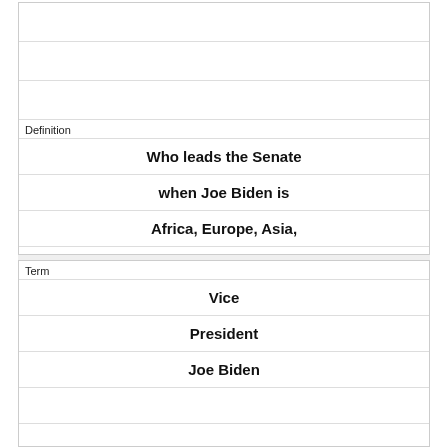| Definition |
| --- |
| Who leads the Senate when Joe Biden is Africa, Europe, Asia, or someplace other than the Senate: |
| Term |
| --- |
| Vice President Joe Biden |